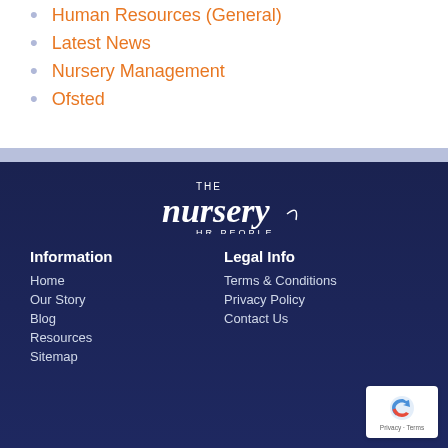Human Resources (General)
Latest News
Nursery Management
Ofsted
[Figure (logo): The Nursery HR People logo in white script on dark navy background]
Information
Legal Info
Home
Our Story
Blog
Resources
Sitemap
Terms & Conditions
Privacy Policy
Contact Us
Latest from the Blog